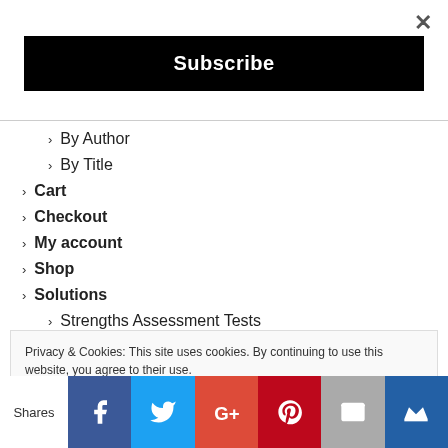×
Subscribe
> By Author
> By Title
> Cart
> Checkout
> My account
> Shop
> Solutions
> Strengths Assessment Tests
> Submit Your Post!
> What's New With Us?
Privacy & Cookies: This site uses cookies. By continuing to use this website, you agree to their use.
To find out more, including how to control cookies, see here: Cookie Policy
Shares